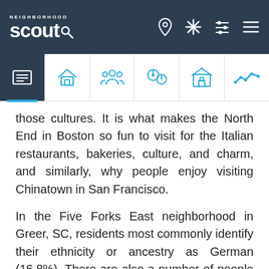Neighborhood Scout [navigation bar with icons]
those cultures. It is what makes the North End in Boston so fun to visit for the Italian restaurants, bakeries, culture, and charm, and similarly, why people enjoy visiting Chinatown in San Francisco.
In the Five Forks East neighborhood in Greer, SC, residents most commonly identify their ethnicity or ancestry as German (16.8%). There are also a number of people of English ancestry (16.3%), and residents who report Irish roots (13.6%), and some of the residents are also of Italian ancestry (6.4%), along with some Asian ancestry residents (5.6%), among